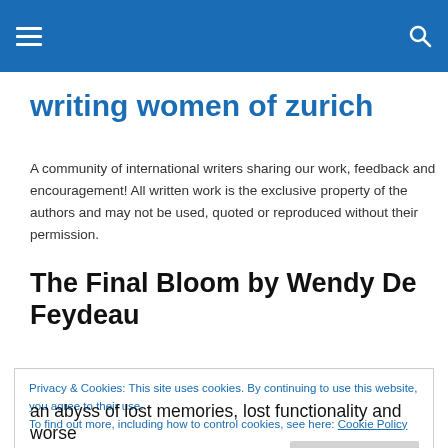writing women of zurich — navigation header bar
writing women of zurich
A community of international writers sharing our work, feedback and encouragement! All written work is the exclusive property of the authors and may not be used, quoted or reproduced without their permission.
The Final Bloom by Wendy De Feydeau
Privacy & Cookies: This site uses cookies. By continuing to use this website, you agree to their use.
To find out more, including how to control cookies, see here: Cookie Policy
an abyss of lost memories, lost functionality and worse